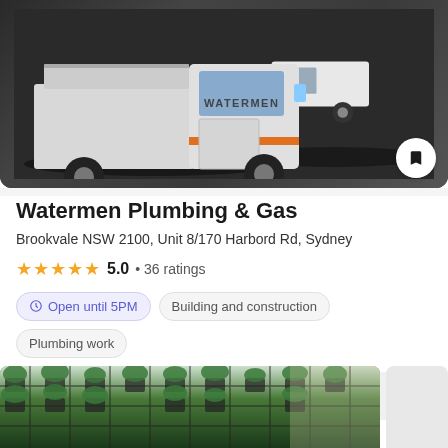[Figure (photo): Two white Watermen branded utility trucks parked on a dark surface, aerial/side view]
Watermen Plumbing & Gas
Brookvale NSW 2100, Unit 8/170 Harbord Rd, Sydney
★★★★★ 5.0 • 36 ratings
Open until 5PM  Building and construction  Plumbing work
Call  On a map
[Figure (photo): Interior photo showing a living plant wall with green foliage in a modern space]